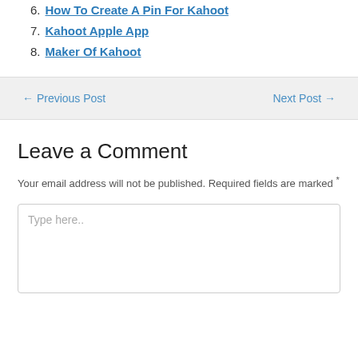6. How To Create A Pin For Kahoot
7. Kahoot Apple App
8. Maker Of Kahoot
← Previous Post    Next Post →
Leave a Comment
Your email address will not be published. Required fields are marked *
Type here..